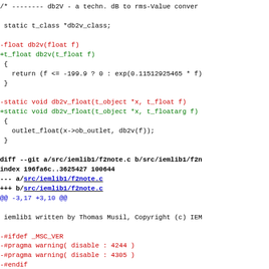/* -------- db2V - a techn. dB to rms-Value conver

 static t_class *db2v_class;

-float db2v(float f)
+t_float db2v(t_float f)
 {
   return (f <= -199.9 ? 0 : exp(0.11512925465 * f)
 }

-static void db2v_float(t_object *x, t_float f)
+static void db2v_float(t_object *x, t_floatarg f)
 {
   outlet_float(x->ob_outlet, db2v(f));
 }

diff --git a/src/iemlib1/f2note.c b/src/iemlib1/f2n
index 196fa6c..3625427 100644
--- a/src/iemlib1/f2note.c
+++ b/src/iemlib1/f2note.c
@@ -3,17 +3,10 @@

 iemlib1 written by Thomas Musil, Copyright (c) IEM

-#ifdef _MSC_VER
-#pragma warning( disable : 4244 )
-#pragma warning( disable : 4305 )
-#endif
-

 -#include "m_pd.h"